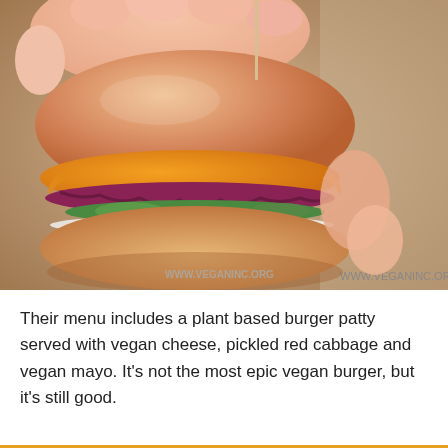[Figure (photo): A hand holding a vegan burger with a plant-based patty topped with orange/yellow vegan cheese, pickled red cabbage, cucumber/jalapeño slices, and vegan mayo on a bun. The background shows a tattoo parlor aesthetic wrapper. A watermark reads WWW.VEGANINC.ORG.]
Their menu includes a plant based burger patty served with vegan cheese, pickled red cabbage and vegan mayo. It's not the most epic vegan burger, but it's still good.